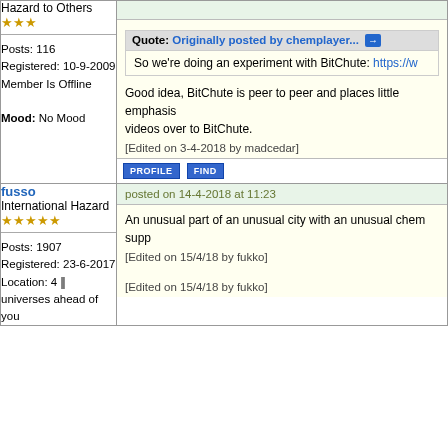Hazard to Others
★★★
Posts: 116
Registered: 10-9-2009
Member Is Offline
Mood: No Mood
Quote: Originally posted by chemplayer...
So we're doing an experiment with BitChute: https://w...
Good idea, BitChute is peer to peer and places little emphasis... videos over to BitChute.
[Edited on 3-4-2018 by madcedar]
PROFILE  FIND
fusso
International Hazard
★★★★★
posted on 14-4-2018 at 11:23
Posts: 1907
Registered: 23-6-2017
Location: 4 || universes ahead of you
An unusual part of an unusual city with an unusual chem supp...
[Edited on 15/4/18 by fukko]
[Edited on 15/4/18 by fukko]